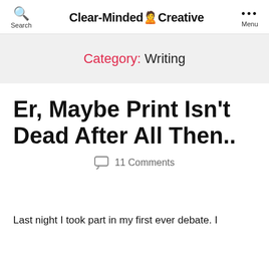Search  Clear-Minded Creative  Menu
Category: Writing
Er, Maybe Print Isn't Dead After All Then..
💬 11 Comments
Last night I took part in my first ever debate. I